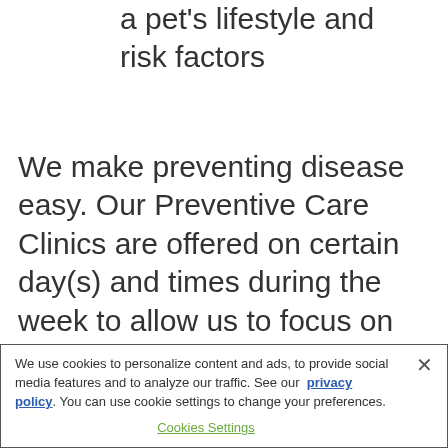a pet's lifestyle and risk factors
We make preventing disease easy. Our Preventive Care Clinics are offered on certain day(s) and times during the week to allow us to focus on the preventive care needs of our patients during those times. If it is time for your pets' vaccinations, then request an
We use cookies to personalize content and ads, to provide social media features and to analyze our traffic. See our privacy policy. You can use cookie settings to change your preferences.
Cookies Settings